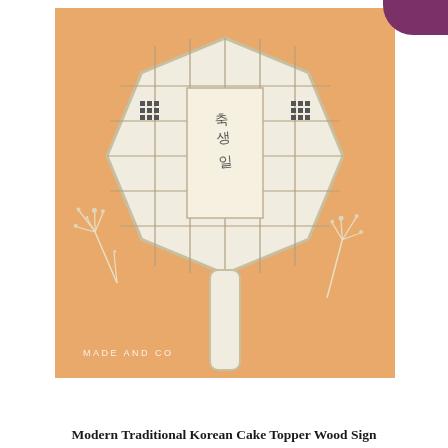[Figure (photo): Product photo of a modern traditional Korean cake topper wood sign shaped like an octagonal paddle/fan with lattice grid pattern and Korean characters on a center panel, on a warm orange/tan background with dried flower sprigs and a MADE AND CO watermark]
Modern Traditional Korean Cake Topper Wood Sign